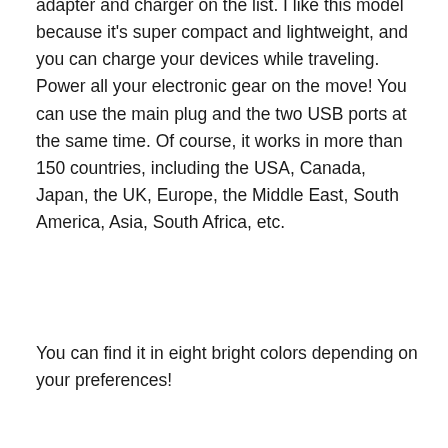adapter and charger on the list. I like this model because it's super compact and lightweight, and you can charge your devices while traveling. Power all your electronic gear on the move! You can use the main plug and the two USB ports at the same time. Of course, it works in more than 150 countries, including the USA, Canada, Japan, the UK, Europe, the Middle East, South America, Asia, South Africa, etc.
You can find it in eight bright colors depending on your preferences!